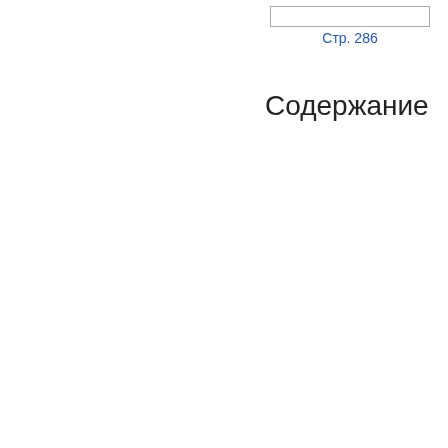Стр. 286
Содержание
| Item | Page | Item | Page |
| --- | --- | --- | --- |
| Th | 3 | 43• | 258 |
| Рh | 9 | А J | 263 |
| 17• | 15 | Th | 267 |
| GF | 21 | Ad | 270 |
| Fin | 23 | Iter | 280 |
| Da | 25 | Ad | 283 |
| Sn | 28 | 45• | 286 |
| Ма | 29 | 13• | 286 |
| А S | 31 | Мо | 286 |
| ITE | 37 | On | 286 |
| Ап | 38 | An | 286 |
| So | 41 | Ho | 308 |
| An | 42 | Ok | 321 |